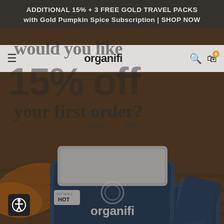ADDITIONAL 15% + 3 FREE GOLD TRAVEL PACKS with Gold Pumpkin Spice Subscription | SHOP NOW
[Figure (screenshot): Organifi website screenshot showing navigation bar with hamburger menu, Organifi logo, search and cart icons. Below is a promotional popup overlay with text 'would you like 15% off your first order?' with 'Get 15% off' and 'Use ___ off' sub-prompts. Background shows Organifi Pumpkin Spice Gold supplement container and Gold Original travel packs on a wooden surface with autumn leaves.]
would you like
15% off
your first order?
Get 15% off
Use ___ off